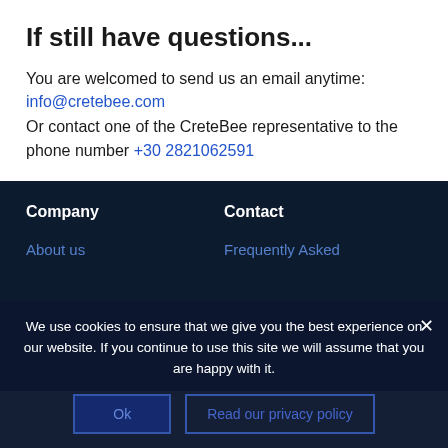If still have questions...
You are welcomed to send us an email anytime: info@cretebee.com
Or contact one of the CreteBee representative to the phone number +30 2821062591
Company
Contact
About us
Frequently Asked
We use cookies to ensure that we give you the best experience on our website. If you continue to use this site we will assume that you are happy with it.
Ok
Read our privacy policy